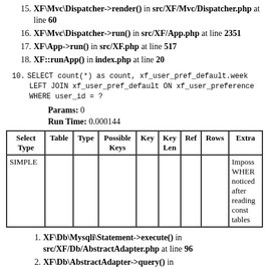15. XF\Mvc\Dispatcher->render() in src/XF/Mvc/Dispatcher.php at line 60
16. XF\Mvc\Dispatcher->run() in src/XF/App.php at line 2351
17. XF\App->run() in src/XF.php at line 517
18. XF::runApp() in index.php at line 20
10. SELECT count(*) as count, xf_user_pref_default.week LEFT JOIN xf_user_pref_default ON xf_user_preference WHERE user_id = ?
Params: 0
Run Time: 0.000144
| Select Type | Table | Type | Possible Keys | Key | Key Len | Ref | Rows | Extra |
| --- | --- | --- | --- | --- | --- | --- | --- | --- |
| SIMPLE |  |  |  |  |  |  |  | Imposs WHERE noticed after reading const tables |
1. XF\Db\Mysqli\Statement->execute() in src/XF/Db/AbstractAdapter.php at line 96
2. XF\Db\AbstractAdapter->query() in